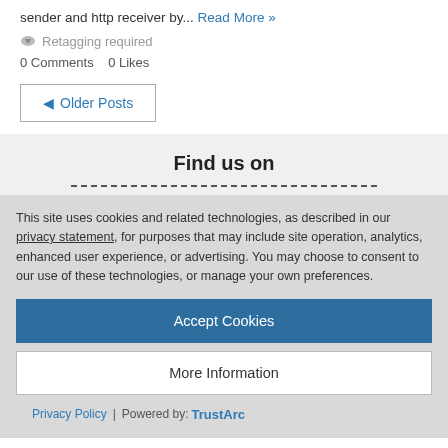sender and http receiver by... Read More »
Retagging required
0 Comments   0 Likes
◄ Older Posts
Find us on
This site uses cookies and related technologies, as described in our privacy statement, for purposes that may include site operation, analytics, enhanced user experience, or advertising. You may choose to consent to our use of these technologies, or manage your own preferences.
Accept Cookies
More Information
Privacy Policy | Powered by: TrustArc